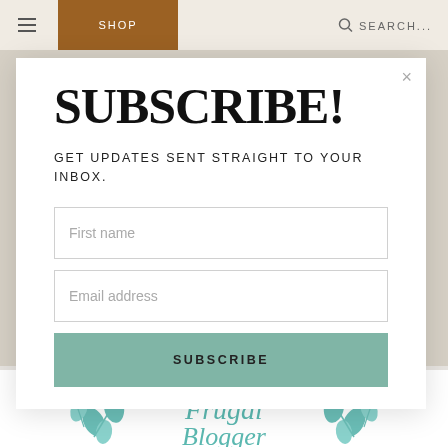SHOP  SEARCH...
SUBSCRIBE!
GET UPDATES SENT STRAIGHT TO YOUR INBOX.
First name
Email address
SUBSCRIBE
[Figure (logo): Partial blog logo with teal floral decorations and cursive text 'Frugal Blogger' visible at bottom of page]